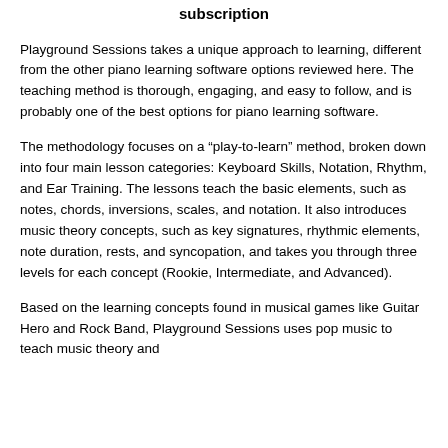subscription
Playground Sessions takes a unique approach to learning, different from the other piano learning software options reviewed here. The teaching method is thorough, engaging, and easy to follow, and is probably one of the best options for piano learning software.
The methodology focuses on a “play-to-learn” method, broken down into four main lesson categories: Keyboard Skills, Notation, Rhythm, and Ear Training. The lessons teach the basic elements, such as notes, chords, inversions, scales, and notation. It also introduces music theory concepts, such as key signatures, rhythmic elements, note duration, rests, and syncopation, and takes you through three levels for each concept (Rookie, Intermediate, and Advanced).
Based on the learning concepts found in musical games like Guitar Hero and Rock Band, Playground Sessions uses pop music to teach music theory and